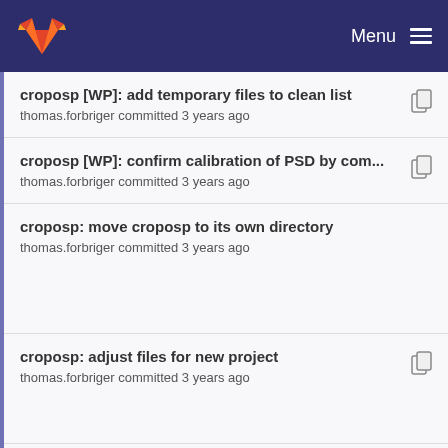GitLab — Menu
croposp [WP]: add temporary files to clean list
thomas.forbriger committed 3 years ago
croposp [WP]: confirm calibration of PSD by com...
thomas.forbriger committed 3 years ago
croposp: move croposp to its own directory
thomas.forbriger committed 3 years ago
croposp: adjust files for new project
thomas.forbriger committed 3 years ago
croposp: move croposp to its own directory
Imprint